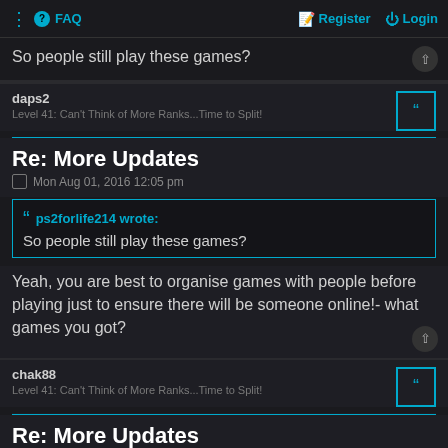FAQ  Register  Login
So people still play these games?
daps2
Level 41: Can't Think of More Ranks...Time to Split!
Re: More Updates
Mon Aug 01, 2016 12:05 pm
ps2forlife214 wrote:
So people still play these games?
Yeah, you are best to organise games with people before playing just to ensure there will be someone online!- what games you got?
chak88
Level 41: Can't Think of More Ranks...Time to Split!
Re: More Updates
Tue Aug 02, 2016 2:16 am